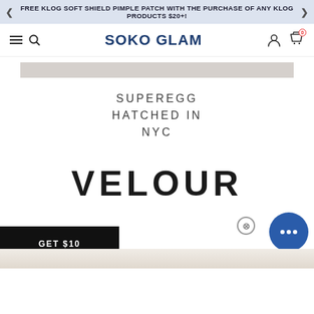FREE KLOG SOFT SHIELD PIMPLE PATCH WITH THE PURCHASE OF ANY KLOG PRODUCTS $20+!
SOKO GLAM
[Figure (illustration): Gray placeholder image bar]
SUPEREGG HATCHED IN NYC
VELOUR
GET $10